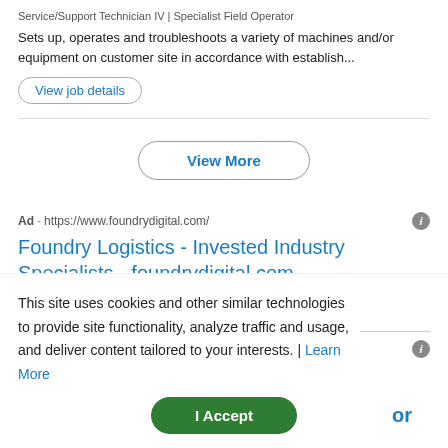Service/Support Technician IV | Specialist Field Operator
Sets up, operates and troubleshoots a variety of machines and/or equipment on customer site in accordance with establish...
View job details
View More
Ad · https://www.foundrydigital.com/
Foundry Logistics - Invested Industry Specialists - foundrydigital.com
End to end logistics management from manufacturer to
This site uses cookies and other similar technologies to provide site functionality, analyze traffic and usage, and deliver content tailored to your interests. | Learn More
I Accept